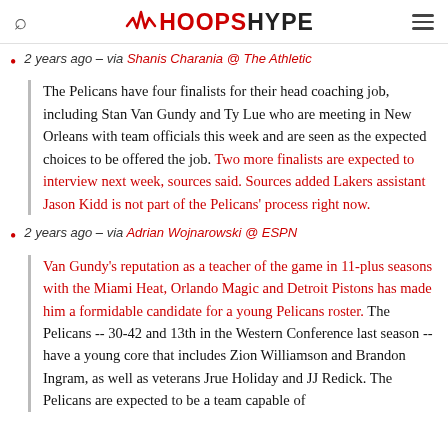HOOPSHYPE
2 years ago – via Shanis Charania @ The Athletic
The Pelicans have four finalists for their head coaching job, including Stan Van Gundy and Ty Lue who are meeting in New Orleans with team officials this week and are seen as the expected choices to be offered the job. Two more finalists are expected to interview next week, sources said. Sources added Lakers assistant Jason Kidd is not part of the Pelicans' process right now.
2 years ago – via Adrian Wojnarowski @ ESPN
Van Gundy's reputation as a teacher of the game in 11-plus seasons with the Miami Heat, Orlando Magic and Detroit Pistons has made him a formidable candidate for a young Pelicans roster. The Pelicans -- 30-42 and 13th in the Western Conference last season -- have a young core that includes Zion Williamson and Brandon Ingram, as well as veterans Jrue Holiday and JJ Redick. The Pelicans are expected to be a team capable of